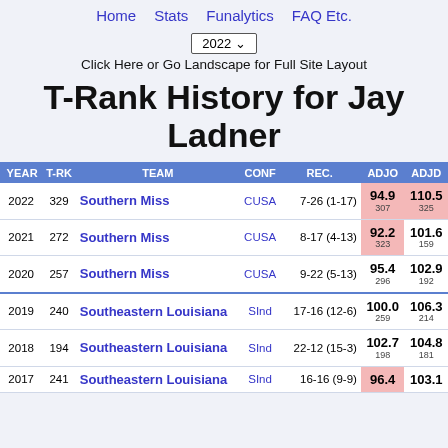Home    Stats    Funalytics    FAQ Etc.
2022 ∨
Click Here or Go Landscape for Full Site Layout
T-Rank History for Jay Ladner
| YEAR | T-RK | TEAM | CONF | REC. | ADJO | ADJD |
| --- | --- | --- | --- | --- | --- | --- |
| 2022 | 329 | Southern Miss | CUSA | 7-26 (1-17) | 94.9
307 | 110.5
325 |
| 2021 | 272 | Southern Miss | CUSA | 8-17 (4-13) | 92.2
323 | 101.6
159 |
| 2020 | 257 | Southern Miss | CUSA | 9-22 (5-13) | 95.4
296 | 102.9
192 |
| 2019 | 240 | Southeastern Louisiana | SInd | 17-16 (12-6) | 100.0
259 | 106.3
214 |
| 2018 | 194 | Southeastern Louisiana | SInd | 22-12 (15-3) | 102.7
198 | 104.8
181 |
| 2017 | 241 | Southeastern Louisiana | SInd | 16-16 (9-9) | 96.4 | 103.1 |